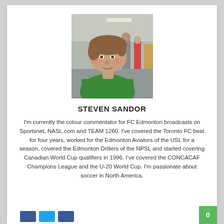[Figure (photo): Headshot photo of Steven Sandor, a man in a green t-shirt, photographed indoors with other people visible in the background]
STEVEN SANDOR
I'm currently the colour commentator for FC Edmonton broadcasts on Sportsnet, NASL.com and TEAM 1260. I've covered the Toronto FC beat for four years, worked for the Edmonton Aviators of the USL for a season, covered the Edmonton Drillers of the NPSL and started covering Canadian World Cup qualifiers in 1996. I've covered the CONCACAF Champions League and the U-20 World Cup. I'm passionate about soccer in North America.